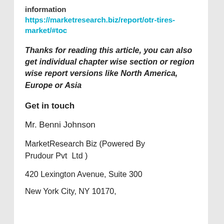information  https://marketresearch.biz/report/otr-tires-market/#toc
Thanks for reading this article, you can also get individual chapter wise section or region wise report versions like North America, Europe or Asia
Get in touch
Mr. Benni Johnson
MarketResearch Biz (Powered By Prudour Pvt Ltd )
420 Lexington Avenue, Suite 300
New York City, NY 10170,